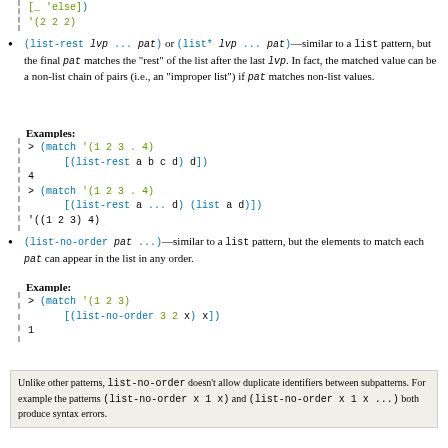[_ 'else])
'(2 2 2)
(list-rest lvp ... pat) or (list* lvp ... pat) — similar to a list pattern, but the final pat matches the "rest" of the list after the last lvp. In fact, the matched value can be a non-list chain of pairs (i.e., an "improper list") if pat matches non-list values.
Examples:
> (match '(1 2 3 . 4)
    [(list-rest a b c d) d])
4
> (match '(1 2 3 . 4)
    [(list-rest a ... d) (list a d)])
'((1 2 3) 4)
(list-no-order pat ...) — similar to a list pattern, but the elements to match each pat can appear in the list in any order.
Example:
> (match '(1 2 3)
    [(list-no-order 3 2 x) x])
1
Unlike other patterns, list-no-order doesn't allow duplicate identifiers between subpatterns. For example the patterns (list-no-order x 1 x) and (list-no-order x 1 x ...) both produce syntax errors.